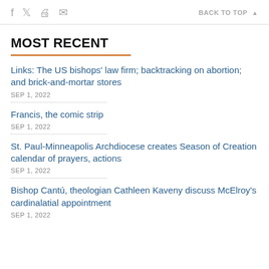f  Twitter  Print  Email  BACK TO TOP ▲
MOST RECENT
Links: The US bishops' law firm; backtracking on abortion; and brick-and-mortar stores
SEP 1, 2022
Francis, the comic strip
SEP 1, 2022
St. Paul-Minneapolis Archdiocese creates Season of Creation calendar of prayers, actions
SEP 1, 2022
Bishop Cantú, theologian Cathleen Kaveny discuss McElroy's cardinalatial appointment
SEP 1, 2022